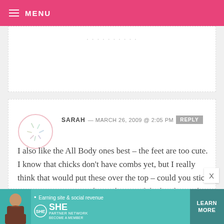MENU
(partial comment text, cut off at top)
SARAH — MARCH 26, 2009 @ 2:05 PM  REPLY
I also like the All Body ones best – the feet are too cute. I know that chicks don't have combs yet, but I really think that would put these over the top – could you stick orange jimmies on end into the top of the head to make a little baby comb? That would be so cute!
[Figure (other): Advertisement banner: SHE Partner Network – Earning site & social revenue. LEARN MORE. BECOME A MEMBER.]